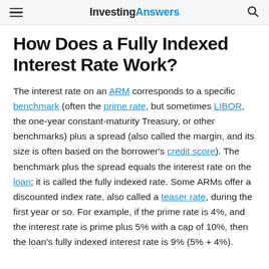InvestingAnswers
How Does a Fully Indexed Interest Rate Work?
The interest rate on an ARM corresponds to a specific benchmark (often the prime rate, but sometimes LIBOR, the one-year constant-maturity Treasury, or other benchmarks) plus a spread (also called the margin, and its size is often based on the borrower's credit score). The benchmark plus the spread equals the interest rate on the loan; it is called the fully indexed rate. Some ARMs offer a discounted index rate, also called a teaser rate, during the first year or so. For example, if the prime rate is 4%, and the interest rate is prime plus 5% with a cap of 10%, then the loan's fully indexed interest rate is 9% (5% + 4%).